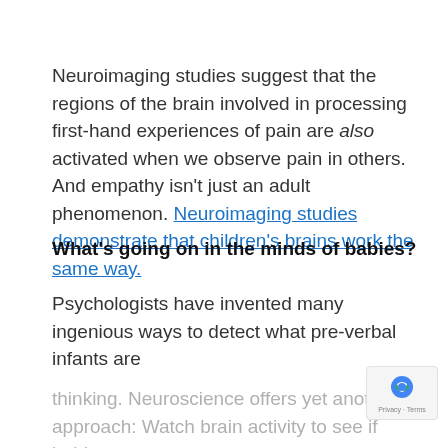Neuroimaging studies suggest that the regions of the brain involved in processing first-hand experiences of pain are also activated when we observe pain in others. And empathy isn't just an adult phenomenon. Neuroimaging studies demonstrate that children's brains work the same way.
What's going on in the minds of babies?
Psychologists have invented many ingenious ways to detect what pre-verbal infants are thinking. Neuroscience offers yet another approach: Watch brain activity to see if babies